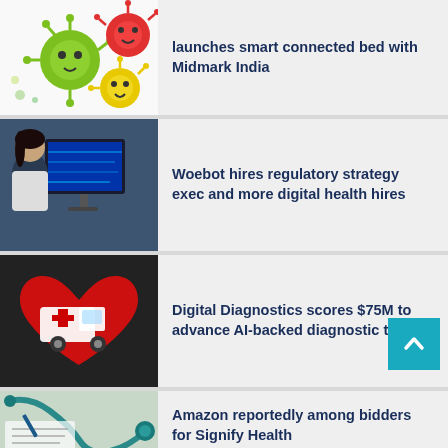[Figure (illustration): Colorful cartoon virus/germ illustrations on white background]
launches smart connected bed with Midmark India
[Figure (photo): Medical professional (woman with dark hair, white coat) sitting at a workstation with a blue monitor]
Woebot hires regulatory strategy exec and more digital health hires
[Figure (illustration): Red heart shape with white ambulance/medical truck icon on dark background]
Digital Diagnostics scores $75M to advance AI-backed diagnostic tech
[Figure (photo): Stethoscope and medical paperwork on light background]
Amazon reportedly among bidders for Signify Health